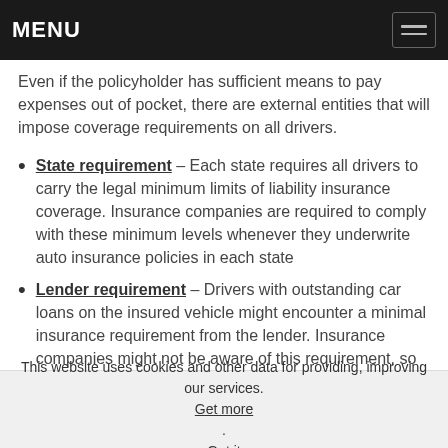MENU
Even if the policyholder has sufficient means to pay expenses out of pocket, there are external entities that will impose coverage requirements on all drivers.
State requirement – Each state requires all drivers to carry the legal minimum limits of liability insurance coverage. Insurance companies are required to comply with these minimum levels whenever they underwrite auto insurance policies in each state
Lender requirement – Drivers with outstanding car loans on the insured vehicle might encounter a minimal insurance requirement from the lender. Insurance companies might not be aware of this requirement, so the driver must do appropriate
This website uses cookies and other data for providing, improving our services. Get more. Got it